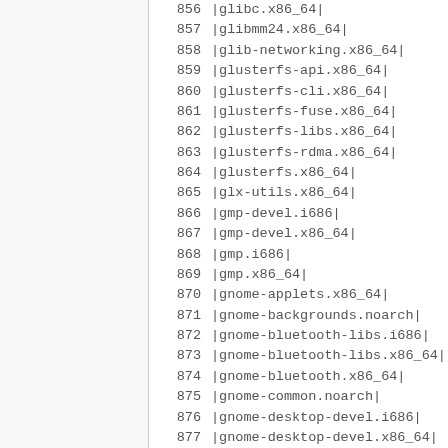856 |glibc.x86_64|
857 |glibmm24.x86_64|
858 |glib-networking.x86_64|
859 |glusterfs-api.x86_64|
860 |glusterfs-cli.x86_64|
861 |glusterfs-fuse.x86_64|
862 |glusterfs-libs.x86_64|
863 |glusterfs-rdma.x86_64|
864 |glusterfs.x86_64|
865 |glx-utils.x86_64|
866 |gmp-devel.i686|
867 |gmp-devel.x86_64|
868 |gmp.i686|
869 |gmp.x86_64|
870 |gnome-applets.x86_64|
871 |gnome-backgrounds.noarch|
872 |gnome-bluetooth-libs.i686|
873 |gnome-bluetooth-libs.x86_64|
874 |gnome-bluetooth.x86_64|
875 |gnome-common.noarch|
876 |gnome-desktop-devel.i686|
877 |gnome-desktop-devel.x86_64|
878 |gnome-desktop.i686|
879 |gnome-desktop.x86_64|